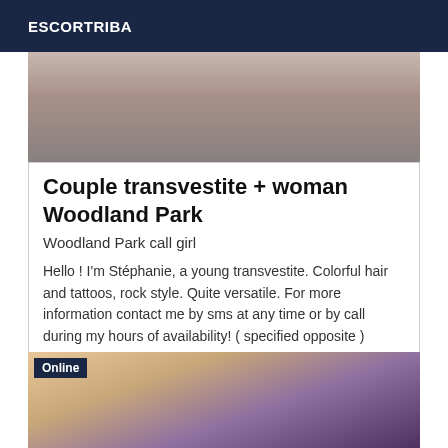ESCORTRIBA
[Figure (photo): Top cropped photo showing a person, partial body view]
Couple transvestite + woman Woodland Park
Woodland Park call girl
Hello ! I'm Stéphanie, a young transvestite. Colorful hair and tattoos, rock style. Quite versatile. For more information contact me by sms at any time or by call during my hours of availability! ( specified opposite )
[Figure (photo): Bottom photo with colorful fabric/clothing, Online badge overlay]